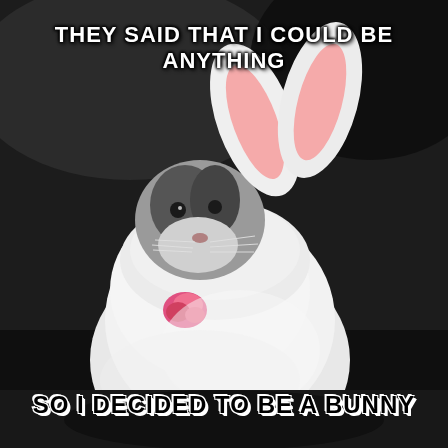[Figure (photo): A cat wearing a white fluffy bunny costume with pink-lined ears, looking upward with a slightly grumpy expression. The background is dark and blurred. The cat has a pink floral accessory at its neck.]
THEY SAID THAT I COULD BE ANYTHING
SO I DECIDED TO BE A BUNNY